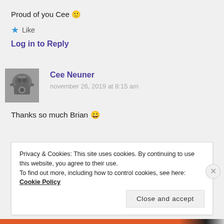Proud of you Cee 🙂
★ Like
Log in to Reply
[Figure (photo): Grayscale avatar photo of Cee Neuner, person holding a camera]
Cee Neuner
november 26, 2019 at 8:15 am
Thanks so much Brian 😀
Privacy & Cookies: This site uses cookies. By continuing to use this website, you agree to their use.
To find out more, including how to control cookies, see here: Cookie Policy
Close and accept